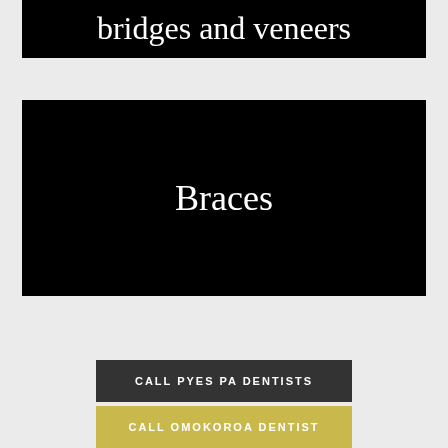bridges and veneers
[Figure (other): Black image box with text 'Braces' in white serif font centered]
CALL PYES PA DENTISTS
CALL OMOKOROA DENTIST